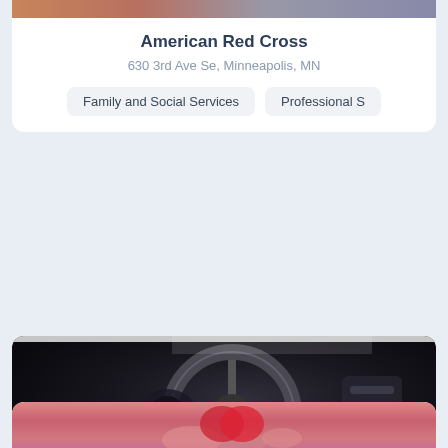[Figure (photo): Partial top image of first card (American Red Cross), cropped people scene with warm skin tones]
American Red Cross
630 3rd Ave Se, Minneapolis, MN
Family and Social Services
Professional S
[Figure (photo): Car interior showing steering wheel and dashboard, dark tones]
Sierra Vista Volunteer Interfaith Ca...
2600 E Wilcox Dr, Sierra Vista, AZ
Family and Social Services
[Figure (photo): Partial bottom image of third card, hands holding a red object, pink/red tones]